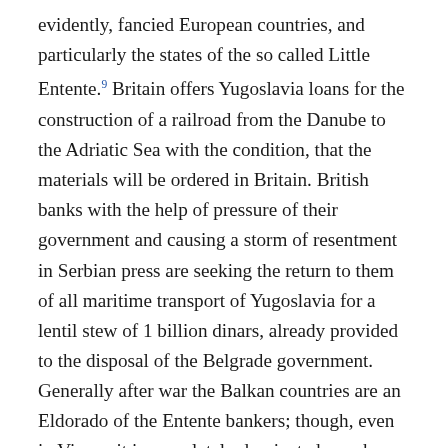evidently, fancied European countries, and particularly the states of the so called Little Entente.9 Britain offers Yugoslavia loans for the construction of a railroad from the Danube to the Adriatic Sea with the condition, that the materials will be ordered in Britain. British banks with the help of pressure of their government and causing a storm of resentment in Serbian press are seeking the return to them of all maritime transport of Yugoslavia for a lentil stew of 1 billion dinars, already provided to the disposal of the Belgrade government. Generally after war the Balkan countries are an Eldorado of the Entente bankers; though, even in Vienna it is completely dominated now by the British and French banks. France does not lag behind England. Le Crédit Lyonnais endeavors to receive in its hands navigation on the greatest lake of Hungary. The French consortium finances with its capital dock works on the